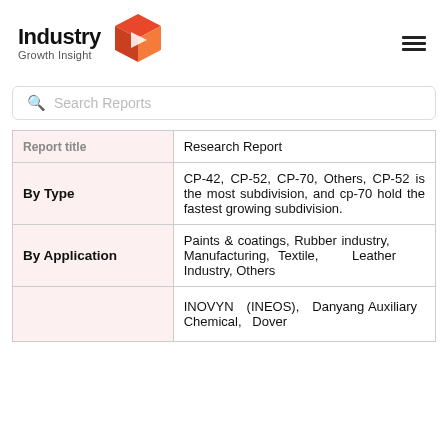[Figure (logo): Industry Growth Insight logo with red 3D box icon and hamburger menu icon]
Search Reports
| Report Title | Research Report |
| --- | --- |
| By Type | CP-42, CP-52, CP-70, Others, CP-52 is the most subdivision, and cp-70 hold the fastest growing subdivision. |
| By Application | Paints & coatings, Rubber industry, Manufacturing, Textile, Leather Industry, Others |
|  | INOVYN (INEOS), Danyang Auxiliary Chemical, Dover |